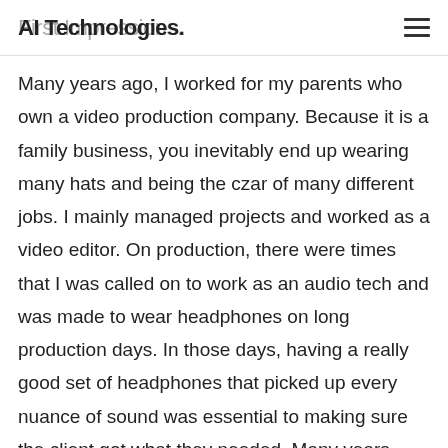AI Technologies. First Impressions.
Many years ago, I worked for my parents who own a video production company. Because it is a family business, you inevitably end up wearing many hats and being the czar of many different jobs. I mainly managed projects and worked as a video editor. On production, there were times that I was called on to work as an audio tech and was made to wear headphones on long production days. In those days, having a really good set of headphones that picked up every nuance of sound was essential to making sure the client got what they needed. Many years ago, I worked for my parents who own a video production company. Because it is a family business, you inevitably end up wearing many hats and being the czar of many different jobs. I mainly managed projects and worked as a video editor. On production, there were times that I was called on to work as an audio tech and was made to wear headphones on long production days.